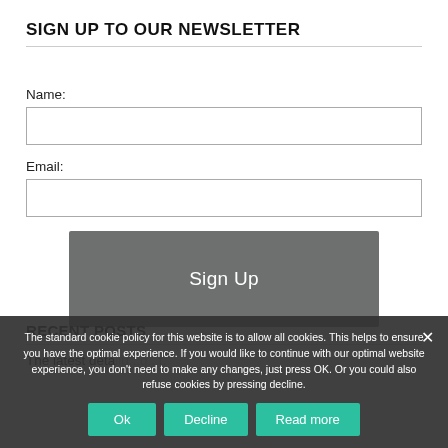SIGN UP TO OUR NEWSLETTER
Name:
Email:
[Figure (screenshot): Sign Up button - dark grey rounded rectangle button with white 'Sign Up' text]
RECENT POSTS
The latest deta...u...g...t.
The standard cookie policy for this website is to allow all cookies. This helps to ensure you have the optimal experience. If you would like to continue with our optimal website experience, you don't need to make any changes, just press OK. Or you could also refuse cookies by pressing decline.